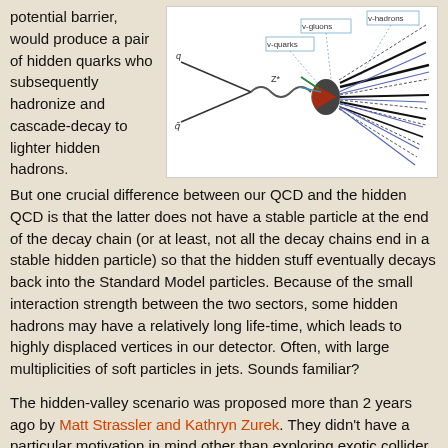potential barrier, would produce a pair of hidden quarks who subsequently hadronize and cascade-decay to lighter hidden hadrons.
[Figure (engineering-diagram): Feynman-style diagram showing hidden valley particle physics decay process with v-quarks, v-gluons, v-hadrons labels and particle tracks radiating from a central vertex, with colored lines representing different particle types.]
But one crucial difference between our QCD and the hidden QCD is that the latter does not have a stable particle at the end of the decay chain (or at least, not all the decay chains end in a stable hidden particle) so that the hidden stuff eventually decays back into the Standard Model particles. Because of the small interaction strength between the two sectors, some hidden hadrons may have a relatively long life-time, which leads to highly displaced vertices in our detector. Often, with large multiplicities of soft particles in jets. Sounds familiar?
The hidden-valley scenario was proposed more than 2 years ago by Matt Strassler and Kathryn Zurek. They didn't have a particular motivation in mind other than exploring exotic collider signatures (although strongly interacting hidden